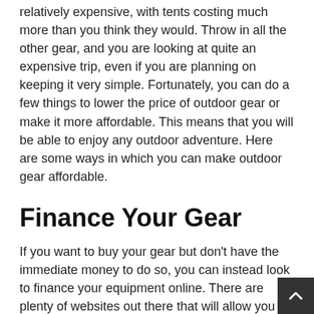relatively expensive, with tents costing much more than you think they would. Throw in all the other gear, and you are looking at quite an expensive trip, even if you are planning on keeping it very simple. Fortunately, you can do a few things to lower the price of outdoor gear or make it more affordable. This means that you will be able to enjoy any outdoor adventure. Here are some ways in which you can make outdoor gear affordable.
Finance Your Gear
If you want to buy your gear but don't have the immediate money to do so, you can instead look to finance your equipment online. There are plenty of websites out there that will allow you to do this. As per financeyourgear.com, generally, all you have to do is fill out a form along with a few quotes, and then you are good to go. You will be getting the gear you need